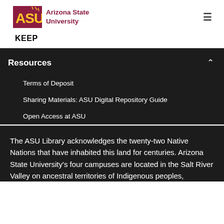Arizona State University — KEEP
KEEP
Resources
Terms of Deposit
Sharing Materials: ASU Digital Repository Guide
Open Access at ASU
The ASU Library acknowledges the twenty-two Native Nations that have inhabited this land for centuries. Arizona State University's four campuses are located in the Salt River Valley on ancestral territories of Indigenous peoples,